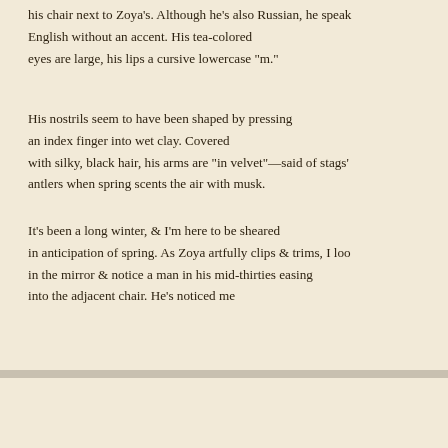his chair next to Zoya’s. Although he’s also Russian, he speaks English without an accent. His tea-colored eyes are large, his lips a cursive lowercase “m.”
His nostrils seem to have been shaped by pressing an index finger into wet clay. Covered with silky, black hair, his arms are “in velvet”—said of stags’ antlers when spring scents the air with musk.
It’s been a long winter, & I’m here to be sheared in anticipation of spring. As Zoya artfully clips & trims, I look in the mirror & notice a man in his mid-thirties easing into the adjacent chair. He’s noticed me